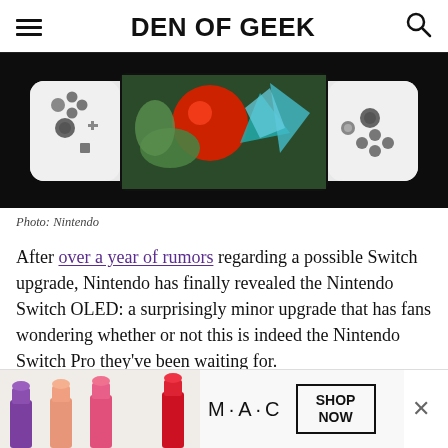DEN OF GEEK
[Figure (photo): Nintendo Switch OLED device showing colorful game art on screen, white Joy-Con controllers on both sides, on dark background]
Photo: Nintendo
After over a year of rumors regarding a possible Switch upgrade, Nintendo has finally revealed the Nintendo Switch OLED: a surprisingly minor upgrade that has fans wondering whether or not this is indeed the Nintendo Switch Pro they've been waiting for.
[Figure (photo): M·A·C cosmetics advertisement showing lipsticks in purple, peach, pink, and red colors with M·A·C logo and SHOP NOW button]